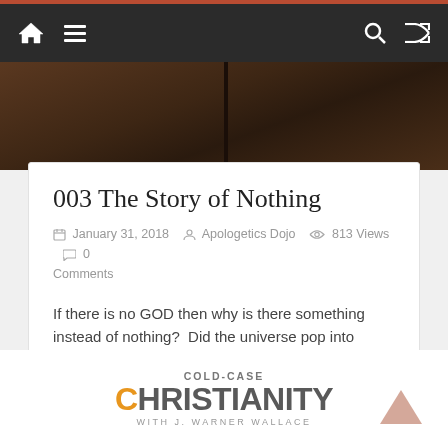Navigation bar with home, menu, search, and shuffle icons
[Figure (photo): Dark brown background image, partially visible, split vertically in the center — appears to be a book or wooden surface]
003 The Story of Nothing
January 31, 2018  Apologetics Dojo  813 Views  0 Comments
If there is no GOD then why is there something instead of nothing?  Did the universe pop into existence out
Read more
[Figure (logo): Cold-Case Christianity with J. Warner Wallace logo — COLD-CASE in grey, CHRISTIANITY in large text with orange C and grey rest, WITH J. WARNER WALLACE below]